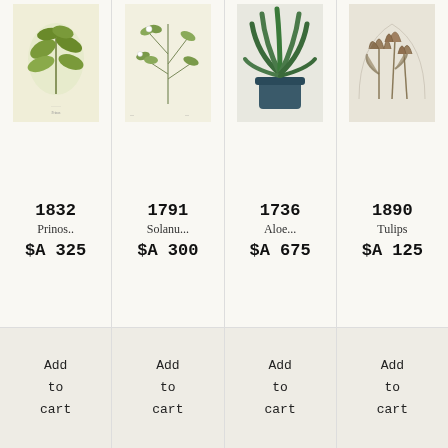[Figure (illustration): Botanical illustration of a plant with green leaves on a cream background (1832 Prinos)]
1832
Prinos..
$A 325
Add
to
cart
[Figure (illustration): Botanical illustration of a plant with small green leaves and branches on a cream background (1791 Solanu...)]
1791
Solanu...
$A 300
Add
to
cart
[Figure (illustration): Botanical illustration of an aloe plant in a dark blue pot (1736 Aloe...)]
1736
Aloe...
$A 675
Add
to
cart
[Figure (illustration): Sepia-toned botanical illustration of tulips (1890 Tulips)]
1890
Tulips
$A 125
Add
to
cart